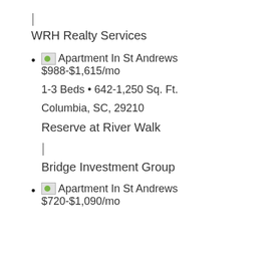|
WRH Realty Services
Apartment In St Andrews $988-$1,615/mo
1-3 Beds • 642-1,250 Sq. Ft.
Columbia, SC, 29210
Reserve at River Walk
|
Bridge Investment Group
Apartment In St Andrews $720-$1,090/mo